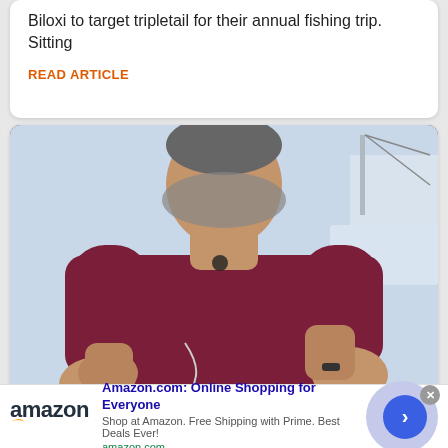Biloxi to target tripletail for their annual fishing trip. Sitting
READ ARTICLE
[Figure (photo): A man wearing a maroon/dark red polo shirt holding his fists up, demonstrating something outdoors near boats. He has a beard and a microphone clipped to his collar.]
Amazon.com: Online Shopping for Everyone
Shop at Amazon. Free Shipping with Prime. Best Deals Ever!
amazon.com